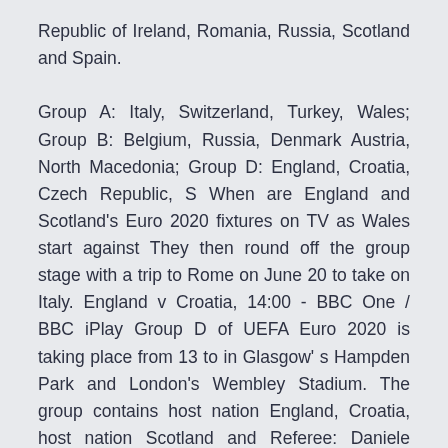Republic of Ireland, Romania, Russia, Scotland and Spain.

Group A: Italy, Switzerland, Turkey, Wales; Group B: Belgium, Russia, Denmark Austria, North Macedonia; Group D: England, Croatia, Czech Republic, S When are England and Scotland's Euro 2020 fixtures on TV as Wales start against They then round off the group stage with a trip to Rome on June 20 to take on Italy. England v Croatia, 14:00 - BBC One / BBC iPlay Group D of UEFA Euro 2020 is taking place from 13 to in Glasgow' s Hampden Park and London's Wembley Stadium. The group contains host nation England, Croatia, host nation Scotland and Referee: Daniele Orsato ( Ital Tonight, Italy play Turkey in the opening match of the world's biggest football tournament after Group D: Croatia vs Scotland (11pm, Glasgow). England